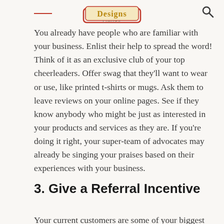Designs Limited [logo]
You already have people who are familiar with your business. Enlist their help to spread the word! Think of it as an exclusive club of your top cheerleaders. Offer swag that they'll want to wear or use, like printed t-shirts or mugs. Ask them to leave reviews on your online pages. See if they know anybody who might be just as interested in your products and services as they are. If you're doing it right, your super-team of advocates may already be singing your praises based on their experiences with your business.
3. Give a Referral Incentive
Your current customers are some of your biggest supporters. When you take into account that people often ask their friends, family and loved ones for advice or referrals this opens up a golden opportunity